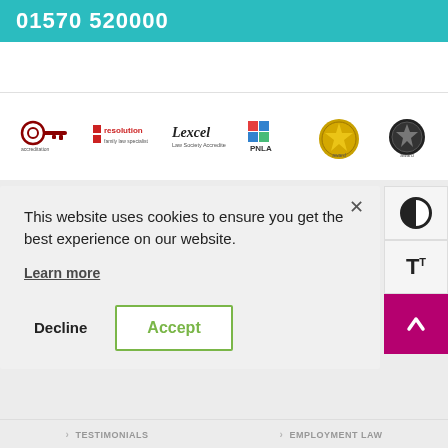01570 520000
[Figure (logo): Row of accreditation logos: key/lock logo, Resolution logo, Lexcel Law Society Accredited logo, PNLA logo, gold award medallion, black award medallion]
This website uses cookies to ensure you get the best experience on our website.
Learn more
Decline
Accept
› TESTIMONIALS  › EMPLOYMENT LAW